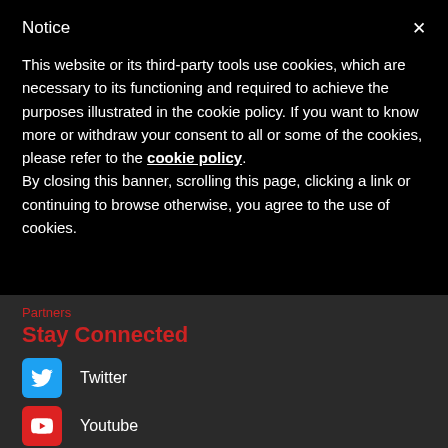Notice
This website or its third-party tools use cookies, which are necessary to its functioning and required to achieve the purposes illustrated in the cookie policy. If you want to know more or withdraw your consent to all or some of the cookies, please refer to the cookie policy.
By closing this banner, scrolling this page, clicking a link or continuing to browse otherwise, you agree to the use of cookies.
Partners
Stay Connected
Twitter
Youtube
Facebook
Instagram